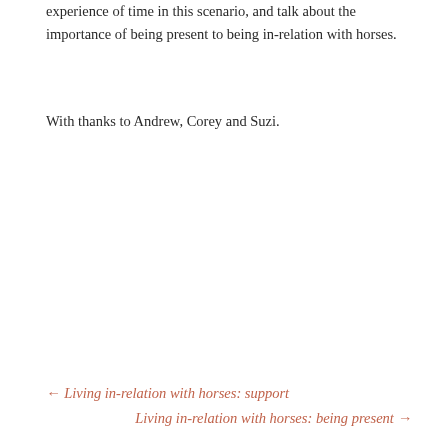experience of time in this scenario, and talk about the importance of being present to being in-relation with horses.
With thanks to Andrew, Corey and Suzi.
← Living in-relation with horses: support
Living in-relation with horses: being present →